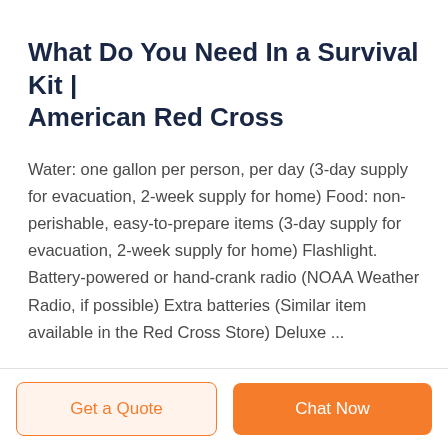What Do You Need In a Survival Kit | American Red Cross
Water: one gallon per person, per day (3-day supply for evacuation, 2-week supply for home) Food: non-perishable, easy-to-prepare items (3-day supply for evacuation, 2-week supply for home) Flashlight. Battery-powered or hand-crank radio (NOAA Weather Radio, if possible) Extra batteries (Similar item available in the Red Cross Store) Deluxe ...
Get a Quote | Chat Now